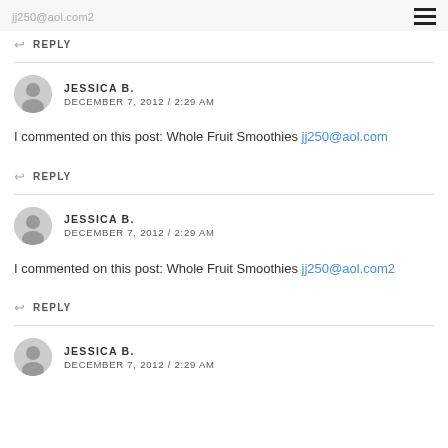jj250@aol.com2
REPLY
JESSICA B.
DECEMBER 7, 2012 / 2:29 AM
I commented on this post: Whole Fruit Smoothies jj250@aol.com
REPLY
JESSICA B.
DECEMBER 7, 2012 / 2:29 AM
I commented on this post: Whole Fruit Smoothies jj250@aol.com2
REPLY
JESSICA B.
DECEMBER 7, 2012 / 2:29 AM